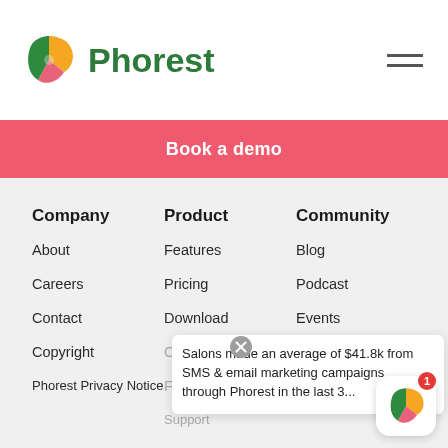[Figure (logo): Phorest logo with colorful P icon and green Phorest wordmark, hamburger menu icon on the right]
Book a demo
Company
Product
Community
About
Features
Blog
Careers
Pricing
Podcast
Contact
Download
Events
Copyright
Compare
Videos
Phorest Privacy Notice
For your industry
Refer a Salon
Support
Salons made an average of $41.8k from SMS & email marketing campaigns through Phorest in the last 3...